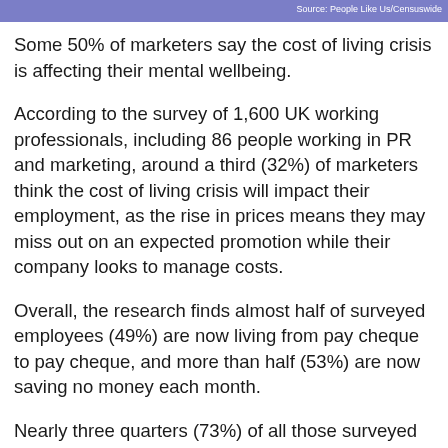Source: People Like Us/Censuswide
Some 50% of marketers say the cost of living crisis is affecting their mental wellbeing.
According to the survey of 1,600 UK working professionals, including 86 people working in PR and marketing, around a third (32%) of marketers think the cost of living crisis will impact their employment, as the rise in prices means they may miss out on an expected promotion while their company looks to manage costs.
Overall, the research finds almost half of surveyed employees (49%) are now living from pay cheque to pay cheque, and more than half (53%) are now saving no money each month.
Nearly three quarters (73%) of all those surveyed feel rising costs are affecting their work life in some way, rising to 85% of workers from a minority ethnic background. Over a quarter (28%) say it is affecting their performance at work, with people from a minority background more likely to feel this affect (36%).